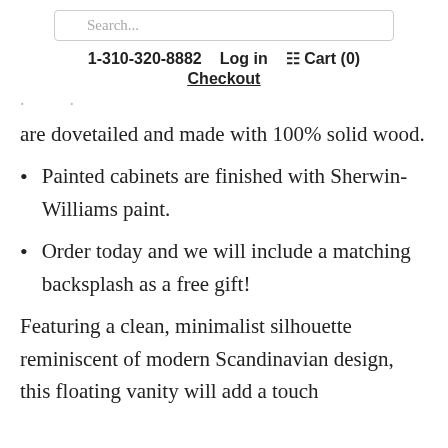Search... | 1-310-320-8882  Log in  Cart (0)  Checkout
are dovetailed and made with 100% solid wood.
Painted cabinets are finished with Sherwin-Williams paint.
Order today and we will include a matching backsplash as a free gift!
Featuring a clean, minimalist silhouette reminiscent of modern Scandinavian design, this floating vanity will add a touch